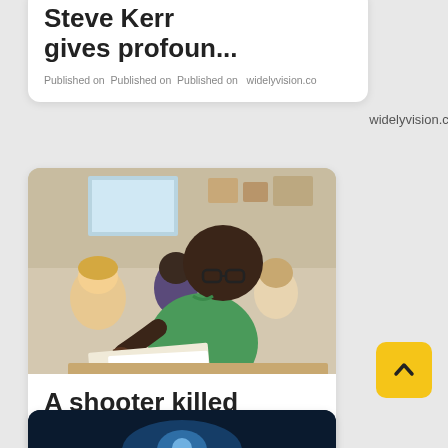Steve Kerr gives profoun...
Published on widelyvision.co
[Figure (photo): A young Black boy wearing glasses and a green t-shirt writing at a desk in a classroom setting, with other students visible in the background]
A shooter killed something like...
Published on widelyvision.co
[Figure (photo): Partial view of a dark blue image, bottom card partially visible]